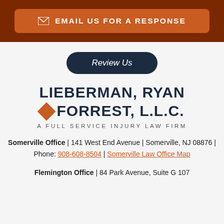[Figure (other): Email Us For A Response button with envelope icon, orange background, dark brown bar]
[Figure (other): Review Us pill-shaped button, dark navy background]
[Figure (logo): Lieberman, Ryan & Forrest, L.L.C. law firm logo with orange diamond ampersand, A Full Service Injury Law Firm]
Somerville Office | 141 West End Avenue | Somerville, NJ 08876 | Phone: 908-608-8504 | Somerville Law Office Map
Flemington Office | 84 Park Avenue, Suite G 107